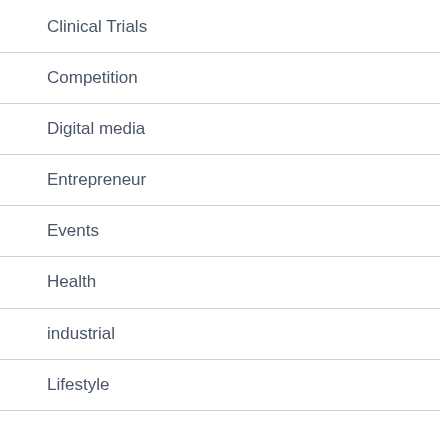Clinical Trials
Competition
Digital media
Entrepreneur
Events
Health
industrial
Lifestyle